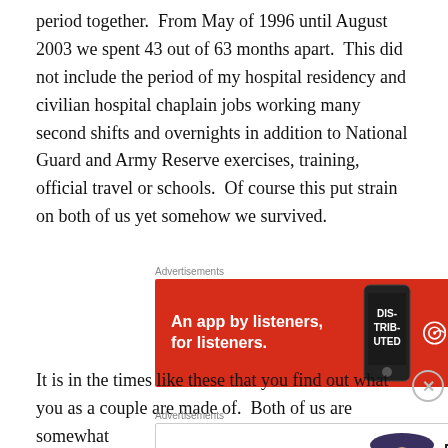period together.  From May of 1996 until August 2003 we spent 43 out of 63 months apart.  This did not include the period of my hospital residency and civilian hospital chaplain jobs working many second shifts and overnights in addition to National Guard and Army Reserve exercises, training, official travel or schools.  Of course this put strain on both of us yet somehow we survived.
[Figure (other): Advertisement banner for Pocket Casts app: red background with text 'An app by listeners, for listeners.' and Pocket Casts logo]
It is in the times like these that you find out what you as a couple are made of.  Both of us are somewhat
[Figure (other): Advertisement banner for Bloomingdale's: white background with logo, 'View Today's Top Deals!' text, and 'SHOP NOW >' button, with photo of woman in hat]